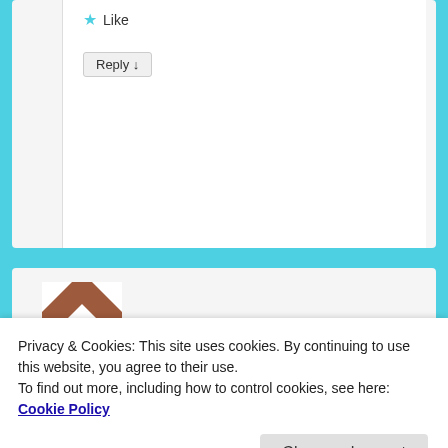★ Like
Reply ↓
[Figure (illustration): Geometric avatar icon with brown and white triangular pattern in a square frame]
Sylvester Kowalski on November 5, 2014 at 8:34 pm
said:
I have taken the 111 marker Y-DNA test and have
Does any of my experience help in understanding
Privacy & Cookies: This site uses cookies. By continuing to use this website, you agree to their use.
To find out more, including how to control cookies, see here: Cookie Policy
Close and accept